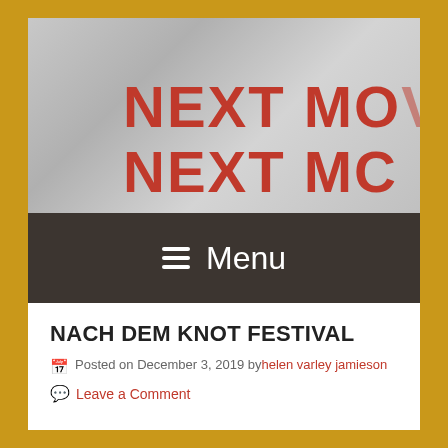[Figure (photo): Header banner image showing crinkled metallic material with bold red text reading 'NEXT MO' repeated twice, partially cropped]
≡ Menu
NACH DEM KNOT FESTIVAL
Posted on December 3, 2019 by helen varley jamieson
Leave a Comment